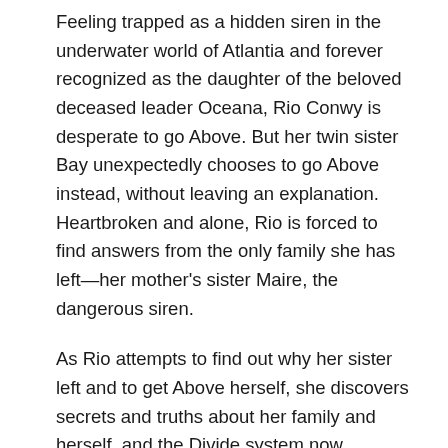Feeling trapped as a hidden siren in the underwater world of Atlantia and forever recognized as the daughter of the beloved deceased leader Oceana, Rio Conwy is desperate to go Above. But her twin sister Bay unexpectedly chooses to go Above instead, without leaving an explanation. Heartbroken and alone, Rio is forced to find answers from the only family she has left—her mother's sister Maire, the dangerous siren.
As Rio attempts to find out why her sister left and to get Above herself, she discovers secrets and truths about her family and herself, and the Divide system now separating her from Bay. Rio learns to recognize the strength in her own voice through unexpected ways as she unearths the past and determines her future.